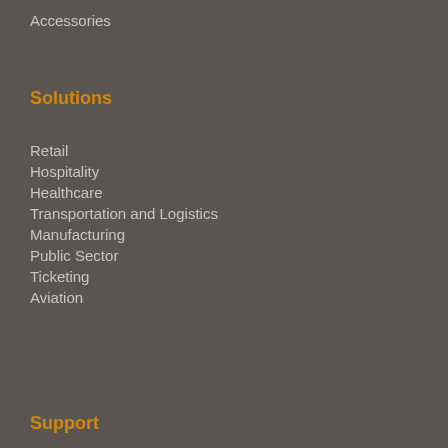Accessories
Solutions
Retail
Hospitality
Healthcare
Transportation and Logistics
Manufacturing
Public Sector
Ticketing
Aviation
Support